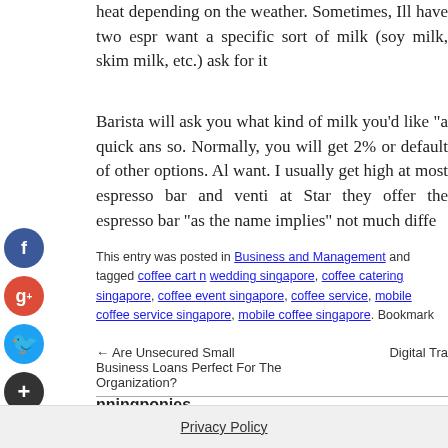heat depending on the weather. Sometimes, Ill have two espr want a specific sort of milk (soy milk, skim milk, etc.) ask for it
Barista will ask you what kind of milk you'd like "a quick ans so. Normally, you will get 2% or default of other options. Al want. I usually get high at most espresso bar and venti at Star they offer the espresso bar "as the name implies" not much diffe
This entry was posted in Business and Management and tagged coffee cart n wedding singapore, coffee catering singapore, coffee event singapore, coffee service, mobile coffee service singapore, mobile coffee singapore. Bookmark
← Are Unsecured Small Business Loans Perfect For The Organization?   Digital Tra
nningponies
Privacy Policy